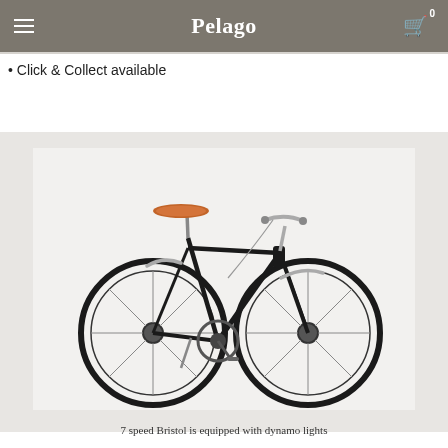Pelago
Click & Collect available
[Figure (photo): A black city/commuter bicycle (Pelago Bristol) with a brown leather saddle, drop handlebars, chrome fenders, and dynamo hub, photographed on a white background.]
7 speed Bristol is equipped with dynamo lights